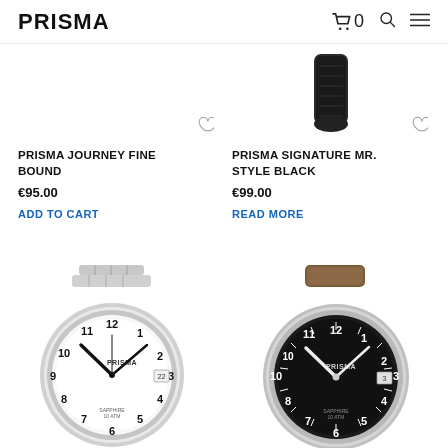PRISMA  🛒0  🔍  ≡
[Figure (photo): Partial view of a Prisma watch with dark leather strap (top half cut off), black case]
PRISMA JOURNEY FINE BOUND
€95.00
ADD TO CART
PRISMA SIGNATURE MR. STYLE BLACK
€99.00
READ MORE
[Figure (photo): Prisma watch with silver stainless steel bracelet and white dial showing Arabic numerals, date window at 3, hands at ~10:10]
[Figure (photo): Prisma watch with brown leather strap and black dial showing Arabic numerals, date window at 3, silver case, hands at ~10:10]